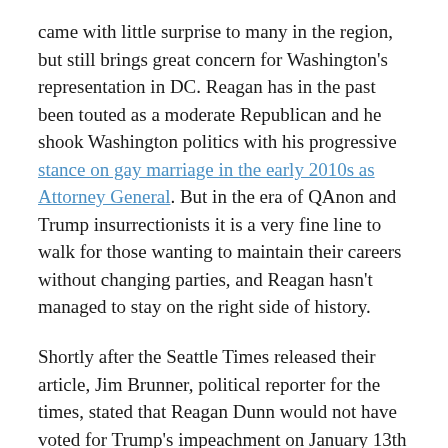came with little surprise to many in the region, but still brings great concern for Washington's representation in DC. Reagan has in the past been touted as a moderate Republican and he shook Washington politics with his progressive stance on gay marriage in the early 2010s as Attorney General. But in the era of QAnon and Trump insurrectionists it is a very fine line to walk for those wanting to maintain their careers without changing parties, and Reagan hasn't managed to stay on the right side of history.
Shortly after the Seattle Times released their article, Jim Brunner, political reporter for the times, stated that Reagan Dunn would not have voted for Trump's impeachment on January 13th following the January 6th assault on the U.S. Capitol. Even in his own region, this year while running for county council he promoted the endorsement of III% extremist leader Chris Wisnoski. The III% in his district have showed up